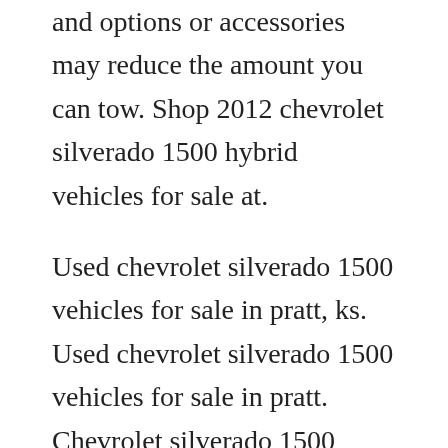and options or accessories may reduce the amount you can tow. Shop 2012 chevrolet silverado 1500 hybrid vehicles for sale at.
Used chevrolet silverado 1500 vehicles for sale in pratt, ks. Used chevrolet silverado 1500 vehicles for sale in pratt. Chevrolet silverado 1500 trade in value canadian black book. Priced below book value in the process of moving and need to sell it quickly, hence priced right. Used car pricing for the 2012 chevrolet silverado 1500 crew cab lt pickup 4d 5 34 ft. Search used chevrolet silverado 1500 vehicles for sale in mission vill